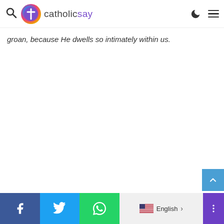catholicsay navigation header with search, logo, dark mode toggle, and menu
groan, because He dwells so intimately within us.
Share bar: Facebook, Twitter, WhatsApp, English language selector, more options